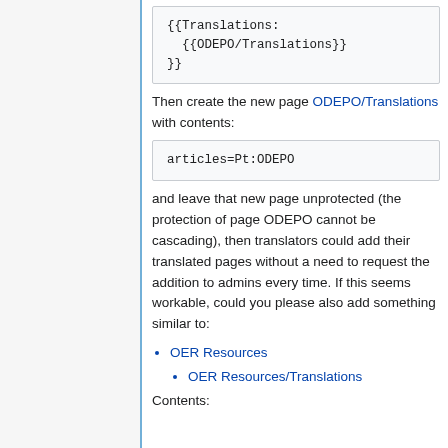[Figure (screenshot): Code block showing wiki template: {{Translations:
  {{ODEPO/Translations}}
}}]
Then create the new page ODEPO/Translations with contents:
[Figure (screenshot): Code block showing: articles=Pt:ODEPO]
and leave that new page unprotected (the protection of page ODEPO cannot be cascading), then translators could add their translated pages without a need to request the addition to admins every time. If this seems workable, could you please also add something similar to:
OER Resources
OER Resources/Translations
Contents: